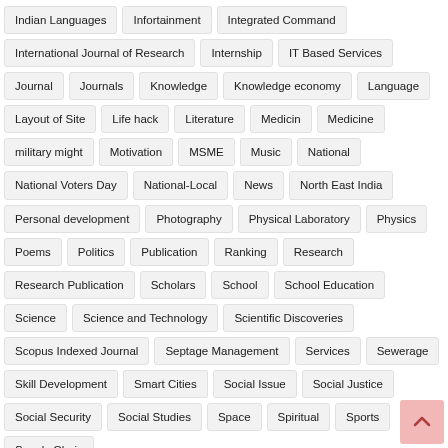Indian Languages
Infortainment
Integrated Command
International Journal of Research
Internship
IT Based Services
Journal
Journals
Knowledge
Knowledge economy
Language
Layout of Site
Life hack
Literature
Medicin
Medicine
military might
Motivation
MSME
Music
National
National Voters Day
National-Local
News
North East India
Personal development
Photography
Physical Laboratory
Physics
Poems
Politics
Publication
Ranking
Research
Research Publication
Scholars
School
School Education
Science
Science and Technology
Scientific Discoveries
Scopus Indexed Journal
Septage Management
Services
Sewerage
Skill Development
Smart Cities
Social Issue
Social Justice
Social Security
Social Studies
Space
Spiritual
Sports
Supply Chain